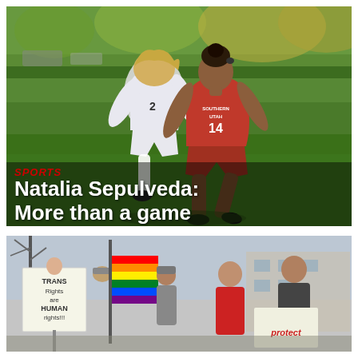[Figure (photo): Two female soccer players competing for the ball on a grass field. One player wears white jersey with number 2, the other wears red jersey reading 'SOUTHERN UTAH' with number 14. Autumn trees visible in background.]
SPORTS
Natalia Sepulveda: More than a game
[Figure (photo): Protest scene with people holding signs. One sign reads 'TRANS Rights are HUMAN rights!!!' A rainbow pride flag is visible. Several people including young men stand holding signs including one partially visible reading 'protest'.]